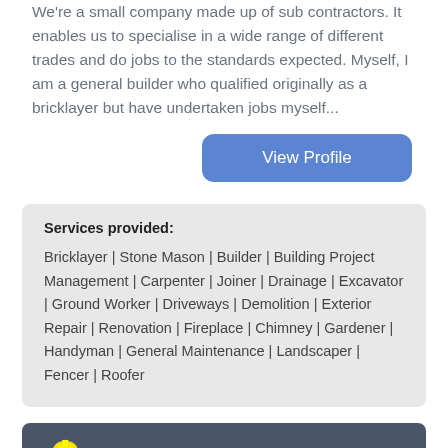We're a small company made up of sub contractors. It enables us to specialise in a wide range of different trades and do jobs to the standards expected. Myself, I am a general builder who qualified originally as a bricklayer but have undertaken jobs myself...
View Profile
Services provided:
Bricklayer | Stone Mason | Builder | Building Project Management | Carpenter | Joiner | Drainage | Excavator | Ground Worker | Driveways | Demolition | Exterior Repair | Renovation | Fireplace | Chimney | Gardener | Handyman | General Maintenance | Landscaper | Fencer | Roofer
CLL Contracting